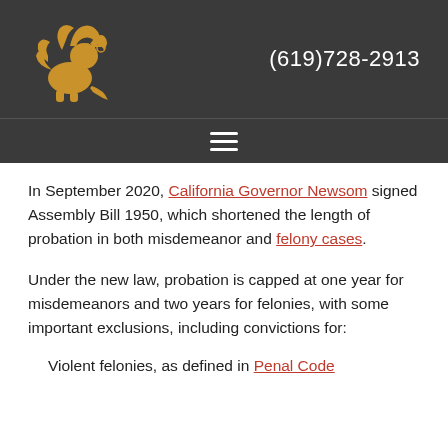(619)728-2913
In September 2020, California Governor Newsom signed Assembly Bill 1950, which shortened the length of probation in both misdemeanor and felony cases.
Under the new law, probation is capped at one year for misdemeanors and two years for felonies, with some important exclusions, including convictions for:
Violent felonies, as defined in Penal Code...